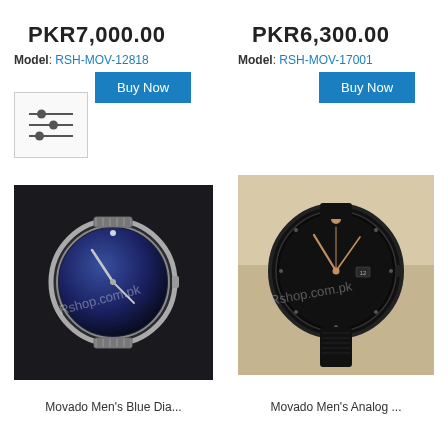PKR7,000.00
Model: RSH-MOV-12818
Buy Now
PKR6,300.00
Model: RSH-MOV-17001
Buy Now
[Figure (photo): Movado men's watch with blue dial and silver bracelet on dark background, watermark rshop.com.pk]
[Figure (photo): Movado men's analog watch with black dial, rose gold hands, and black leather strap on beige box background, watermark Rshop.com.pk]
Movado Men's Blue Dia...
Movado Men's Analog ...